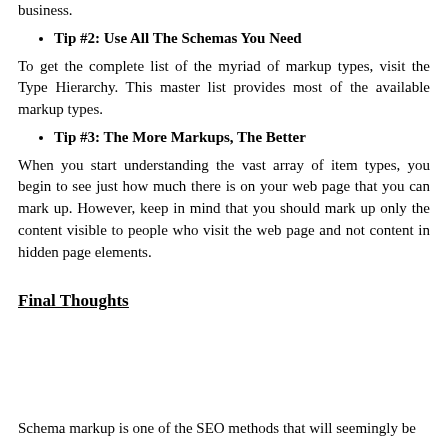business.
Tip #2: Use All The Schemas You Need
To get the complete list of the myriad of markup types, visit the Type Hierarchy. This master list provides most of the available markup types.
Tip #3: The More Markups, The Better
When you start understanding the vast array of item types, you begin to see just how much there is on your web page that you can mark up. However, keep in mind that you should mark up only the content visible to people who visit the web page and not content in hidden page elements.
Final Thoughts
Schema markup is one of the SEO methods that will seemingly be